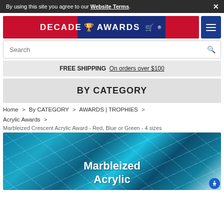By using this site you agree to our Website Terms.
[Figure (logo): Decade Awards logo banner with red and blue background, trophy icon, and shopping cart icon, plus hamburger menu button]
Search
FREE SHIPPING  On orders over $100
BY CATEGORY
Home > By CATEGORY > AWARDS | TROPHIES > Acrylic Awards >
Marbleized Crescent Acrylic Award - Red, Blue or Green - 4 sizes
[Figure (photo): Blue marbleized acrylic award product photo with text overlay reading 'Marbleized Acrylic']